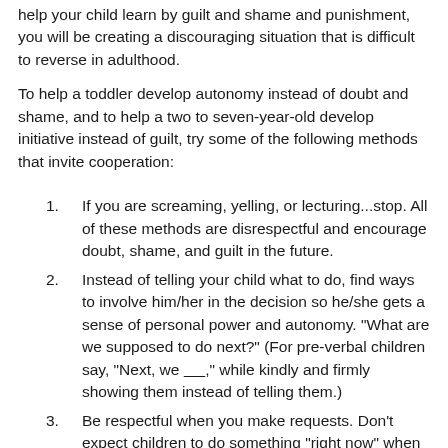help your child learn by guilt and shame and punishment, you will be creating a discouraging situation that is difficult to reverse in adulthood.
To help a toddler develop autonomy instead of doubt and shame, and to help a two to seven-year-old develop initiative instead of guilt, try some of the following methods that invite cooperation:
If you are screaming, yelling, or lecturing...stop. All of these methods are disrespectful and encourage doubt, shame, and guilt in the future.
Instead of telling your child what to do, find ways to involve him/her in the decision so he/she gets a sense of personal power and autonomy. "What are we supposed to do next?" (For pre-verbal children say, "Next, we _____, " while kindly and firmly showing them instead of telling them.)
Be respectful when you make requests. Don't expect children to do something "right now" when you are...